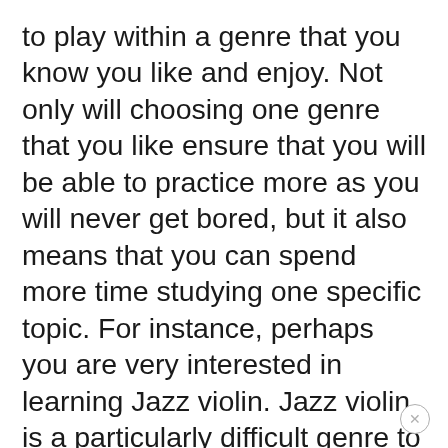to play within a genre that you know you like and enjoy. Not only will choosing one genre that you like ensure that you will be able to practice more as you will never get bored, but it also means that you can spend more time studying one specific topic. For instance, perhaps you are very interested in learning Jazz violin. Jazz violin is a particularly difficult genre to grasp on the instrument. However, if you choose simple songs with jazz standard chords, you can become more and more accustomed to that style of playing. You can then also begin to